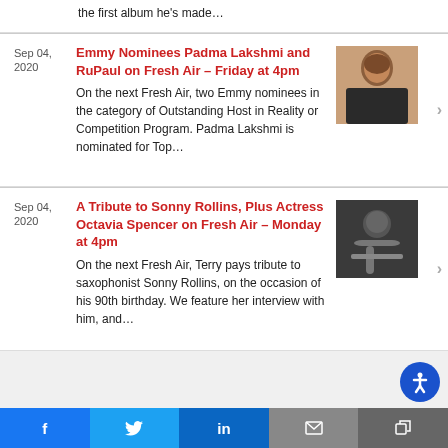the first album he's made…
Sep 04, 2020
Emmy Nominees Padma Lakshmi and RuPaul on Fresh Air – Friday at 4pm
On the next Fresh Air, two Emmy nominees in the category of Outstanding Host in Reality or Competition Program. Padma Lakshmi is nominated for Top…
[Figure (photo): Photo of Padma Lakshmi]
Sep 04, 2020
A Tribute to Sonny Rollins, Plus Actress Octavia Spencer on Fresh Air – Monday at 4pm
On the next Fresh Air, Terry pays tribute to saxophonist Sonny Rollins, on the occasion of his 90th birthday. We feature her interview with him, and…
[Figure (photo): Black and white photo of Sonny Rollins playing saxophone]
f  [Twitter bird]  in  [email]  [share]